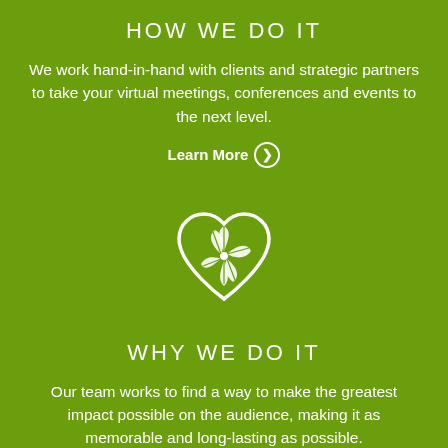HOW WE DO IT
We work hand-in-hand with clients and strategic partners to take your virtual meetings, conferences and events to the next level.
Learn More ❯
[Figure (logo): White heart-shaped icon with a citrus/leaf pattern inside, on green background]
WHY WE DO IT
Our team works to find a way to make the greatest impact possible on the audience, making it as memorable and long-lasting as possible.